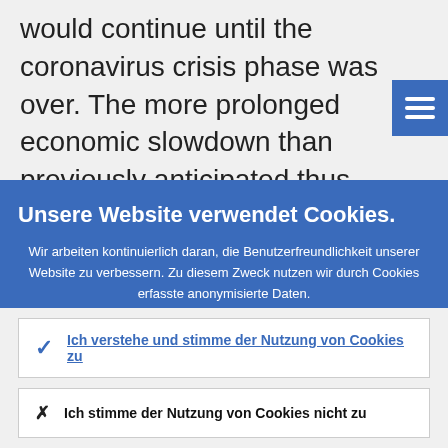would continue until the coronavirus crisis phase was over. The more prolonged economic slowdown than previously anticipated thus warranted such an
[Figure (screenshot): Blue square menu/hamburger button with three white horizontal lines]
Unsere Website verwendet Cookies.
Wir arbeiten kontinuierlich daran, die Benutzerfreundlichkeit unserer Website zu verbessern. Zu diesem Zweck nutzen wir durch Cookies erfasste anonymisierte Daten.
Weitere Informationen zu unserer Nutzung von Cookies
Ich verstehe und stimme der Nutzung von Cookies zu
Ich stimme der Nutzung von Cookies nicht zu